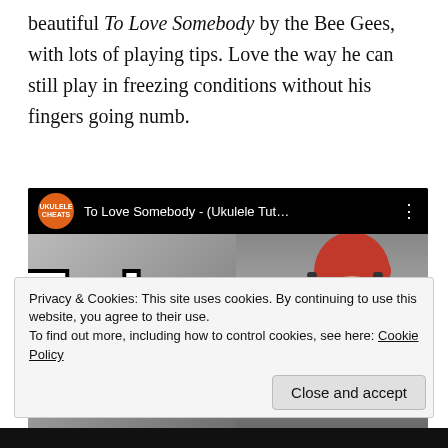beautiful To Love Somebody by the Bee Gees, with lots of playing tips. Love the way he can still play in freezing conditions without his fingers going numb.
[Figure (screenshot): YouTube video thumbnail for 'To Love Somebody - (Ukulele Tut...' by Ukulele Cheats channel. Shows a person in a red ski helmet and goggles in a snowy setting, with large bold white text 'To Love' and a red YouTube play button in the center.]
Privacy & Cookies: This site uses cookies. By continuing to use this website, you agree to their use.
To find out more, including how to control cookies, see here: Cookie Policy
Close and accept